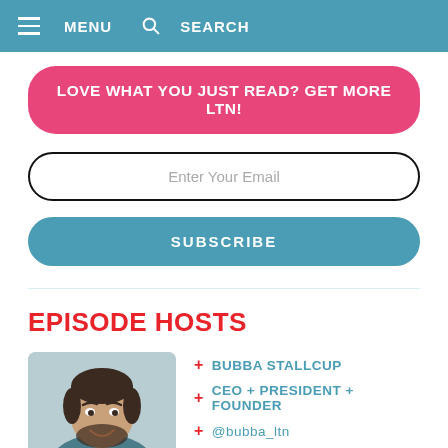MENU  SEARCH
LOVE WHAT YOU JUST READ? GET MORE LTN!
Enter Your Email
SUBSCRIBE
EPISODE HOSTS
[Figure (photo): Headshot of Bubba Stallcup, a man with short dark hair and beard, smiling]
+ BUBBA STALLCUP
+ CEO + PRESIDENT + FOUNDER
+ @bubba_ltn